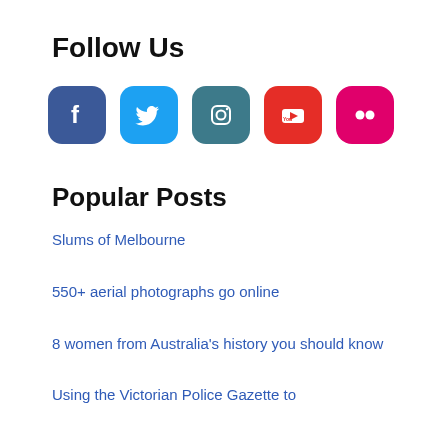Follow Us
[Figure (illustration): Social media icons: Facebook (blue rounded square), Twitter (light blue rounded square), Instagram (teal rounded square), YouTube (red rounded square), Flickr (pink/magenta rounded square)]
Popular Posts
Slums of Melbourne
550+ aerial photographs go online
8 women from Australia's history you should know
Using the Victorian Police Gazette to